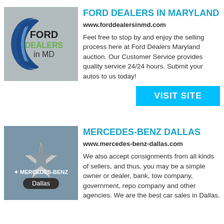[Figure (logo): Ford Dealers in MD logo on grey background]
FORD DEALERS IN MARYLAND
www.forddealersinmd.com
Feel free to stop by and enjoy the selling process here at Ford Dealers Maryland auction. Our Customer Service provides quality service 24/24 hours. Submit your autos to us today!
VISIT SITE
[Figure (logo): Mercedes-Benz Dallas logo on blue-grey background with star and Dallas pill]
MERCEDES-BENZ DALLAS
www.mercedes-benz-dallas.com
We also accept consignments from all kinds of sellers, and thus, you may be a simple owner or dealer, bank, tow company, government, repo company and other agencies. We are the best car sales in Dallas.